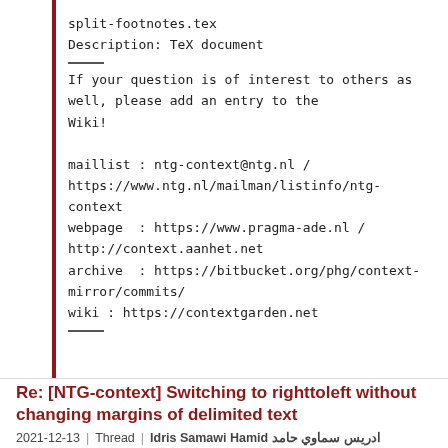split-footnotes.tex
Description: TeX document

---

If your question is of interest to others as well, please add an entry to the Wiki!

maillist : ntg-context@ntg.nl / https://www.ntg.nl/mailman/listinfo/ntg-context
webpage  : https://www.pragma-ade.nl / http://context.aanhet.net
archive  : https://bitbucket.org/phg/context-mirror/commits/
wiki : https://contextgarden.net

---
Re: [NTG-context] Switching to righttoleft without changing margins of delimited text
2021-12-13 | Thread | Idris Samawi Hamid ادريس سماوي حامد
via ntg-context